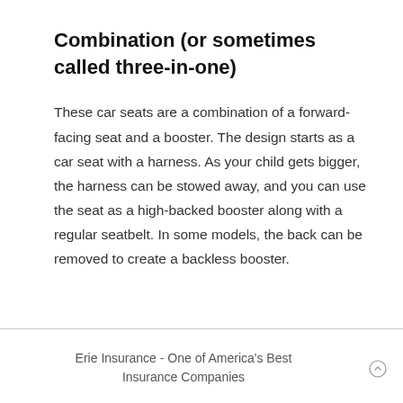Combination (or sometimes called three-in-one)
These car seats are a combination of a forward-facing seat and a booster. The design starts as a car seat with a harness. As your child gets bigger, the harness can be stowed away, and you can use the seat as a high-backed booster along with a regular seatbelt. In some models, the back can be removed to create a backless booster.
Erie Insurance - One of America's Best Insurance Companies